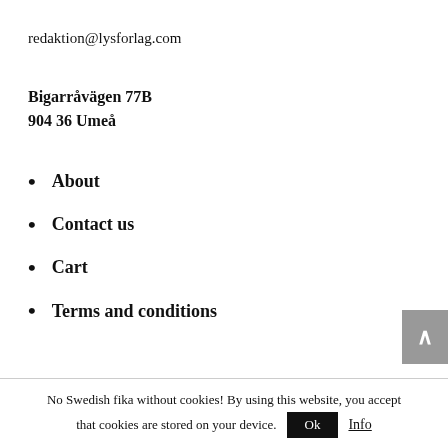redaktion@lysforlag.com
Bigarråvägen 77B
904 36 Umeå
About
Contact us
Cart
Terms and conditions
No Swedish fika without cookies! By using this website, you accept that cookies are stored on your device.